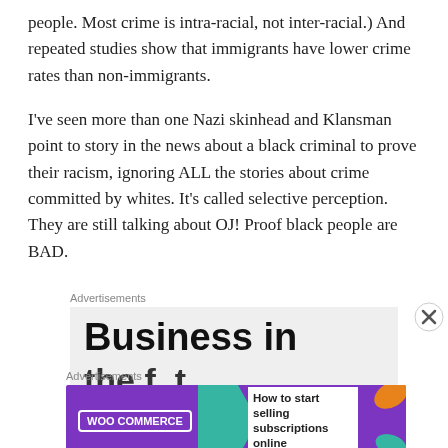people. Most crime is intra-racial, not inter-racial.) And repeated studies show that immigrants have lower crime rates than non-immigrants.
I've seen more than one Nazi skinhead and Klansman point to story in the news about a black criminal to prove their racism, ignoring ALL the stories about crime committed by whites. It's called selective perception. They are still talking about OJ! Proof black people are BAD.
[Figure (other): Advertisement banner showing 'Business in' large bold text, partial advertisement for a business-related product]
[Figure (other): WooCommerce advertisement: 'How to start selling subscriptions online' with teal arrow graphic and colorful splash elements]